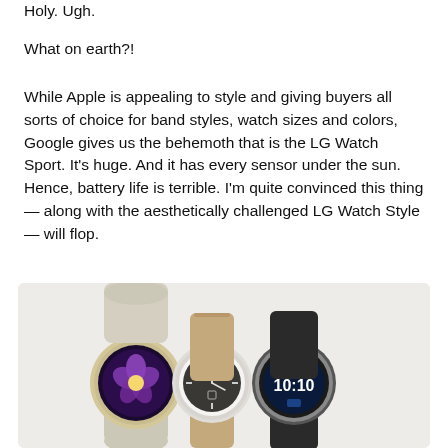Holy. Ugh.
What on earth?!
While Apple is appealing to style and giving buyers all sorts of choice for band styles, watch sizes and colors, Google gives us the behemoth that is the LG Watch Sport. It's huge. And it has every sensor under the sun. Hence, battery life is terrible. I'm quite convinced this thing — along with the aesthetically challenged LG Watch Style — will flop.
[Figure (photo): Three LG smartwatches side by side — left: gold/champagne with light band and floral screen, center: silver with tan leather band and analog face, right: dark/black with black band showing time 10:10.]